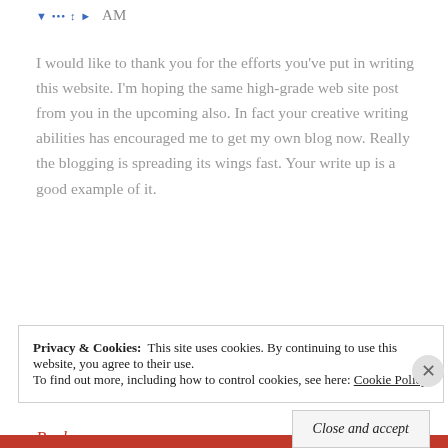AM
I would like to thank you for the efforts you've put in writing this website. I'm hoping the same high-grade web site post from you in the upcoming also. In fact your creative writing abilities has encouraged me to get my own blog now. Really the blogging is spreading its wings fast. Your write up is a good example of it.
Like
Reply
Privacy & Cookies:  This site uses cookies. By continuing to use this website, you agree to their use. To find out more, including how to control cookies, see here: Cookie Policy
Close and accept